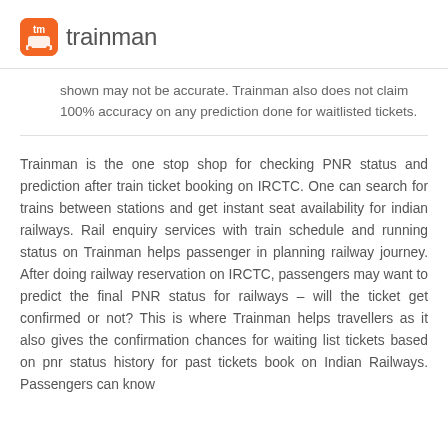trainman
shown may not be accurate. Trainman also does not claim 100% accuracy on any prediction done for waitlisted tickets.
Trainman is the one stop shop for checking PNR status and prediction after train ticket booking on IRCTC. One can search for trains between stations and get instant seat availability for indian railways. Rail enquiry services with train schedule and running status on Trainman helps passenger in planning railway journey. After doing railway reservation on IRCTC, passengers may want to predict the final PNR status for railways – will the ticket get confirmed or not? This is where Trainman helps travellers as it also gives the confirmation chances for waiting list tickets based on pnr status history for past tickets book on Indian Railways. Passengers can know